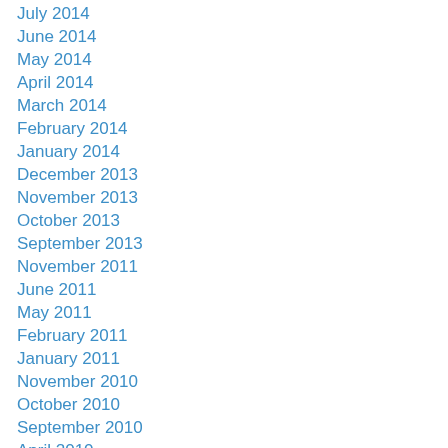July 2014
June 2014
May 2014
April 2014
March 2014
February 2014
January 2014
December 2013
November 2013
October 2013
September 2013
November 2011
June 2011
May 2011
February 2011
January 2011
November 2010
October 2010
September 2010
April 2010